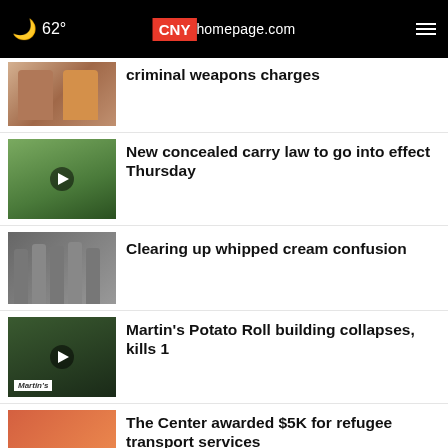62° CNYhomepage.com
criminal weapons charges
New concealed carry law to go into effect Thursday
Clearing up whipped cream confusion
Martin's Potato Roll building collapses, kills 1
The Center awarded $5K for refugee transport services
ICAN receives $5K grant for women &
Instagram testing more user-friendly
[Figure (screenshot): Advertisement banner for LT Rush Stone & Fireplace - Fireplace Services with OPEN button]